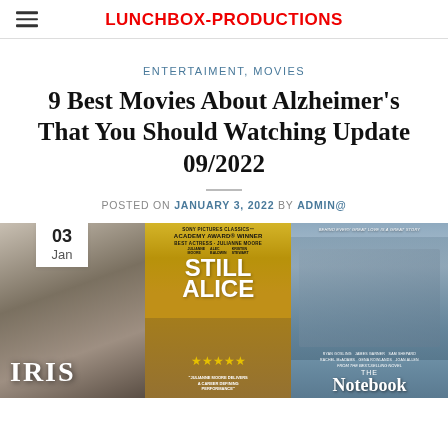LUNCHBOX-PRODUCTIONS
ENTERTAIMENT, MOVIES
9 Best Movies About Alzheimer's That You Should Watching Update 09/2022
POSTED ON JANUARY 3, 2022 BY ADMIN@
[Figure (photo): Three movie posters side by side: Iris, Still Alice, and The Notebook, with a date badge showing 03 Jan in the top-left corner]